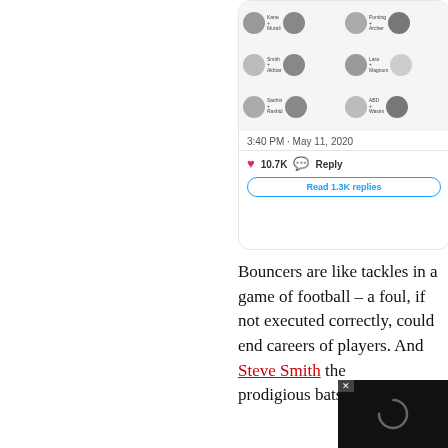[Figure (screenshot): Partial screenshot of a tweet card showing cricket player face matchups (Kane+Murali, Ponting+Archer, Smith+Akhtar, Lara+Magnum, Sachin+Rashid, ABD+Wasim), timestamp 3:40 PM May 11 2020, 10.7K likes, Reply button, and Read 1.3K replies button]
Bouncers are like tackles in a game of football – a foul, if not executed correctly, could end careers of players. And Steve Smith the prodigious batsman, witne